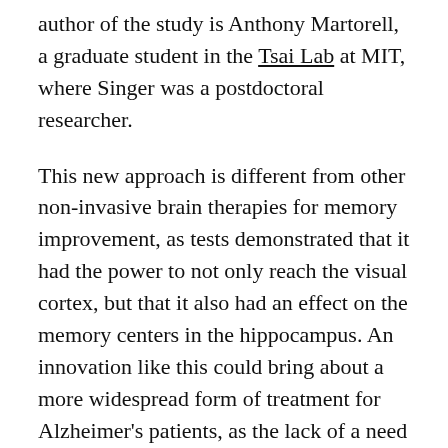author of the study is Anthony Martorell, a graduate student in the Tsai Lab at MIT, where Singer was a postdoctoral researcher.
This new approach is different from other non-invasive brain therapies for memory improvement, as tests demonstrated that it had the power to not only reach the visual cortex, but that it also had an effect on the memory centers in the hippocampus. An innovation like this could bring about a more widespread form of treatment for Alzheimer's patients, as the lack of a need for surgery makes it far more accessible. Singer hopes to continue the project in the future by looking at how these sensory stimulations affect the brain throughout a variety of processes, and more importantly, if the therapy can be successfully applied to human patients.
NIH Grant Awarded to Marquette Biomedical